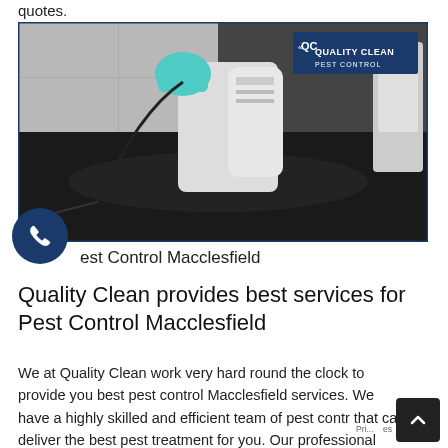quotes.
[Figure (photo): Pest control technician in white suit spraying with a pump sprayer on a dark floor. Quality Clean Pest Control logo visible in top-right corner.]
Pest Control Macclesfield
Quality Clean provides best services for Pest Control Macclesfield
We at Quality Clean work very hard round the clock to provide you best pest control Macclesfield services. We have a highly skilled and efficient team of pest contr that can deliver the best pest treatment for you. Our professional pest controllers are well trained and certifie